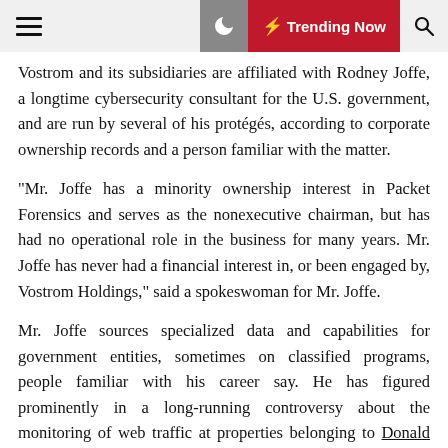☰ 🌙 ⚡ Trending Now 🔍
Vostrom and its subsidiaries are affiliated with Rodney Joffe, a longtime cybersecurity consultant for the U.S. government, and are run by several of his protégés, according to corporate ownership records and a person familiar with the matter.
"Mr. Joffe has a minority ownership interest in Packet Forensics and serves as the nonexecutive chairman, but has had no operational role in the business for many years. Mr. Joffe has never had a financial interest in, or been engaged by, Vostrom Holdings," said a spokeswoman for Mr. Joffe.
Mr. Joffe sources specialized data and capabilities for government entities, sometimes on classified programs, people familiar with his career say. He has figured prominently in a long-running controversy about the monitoring of web traffic at properties belonging to Donald Trump during the 2016 election.